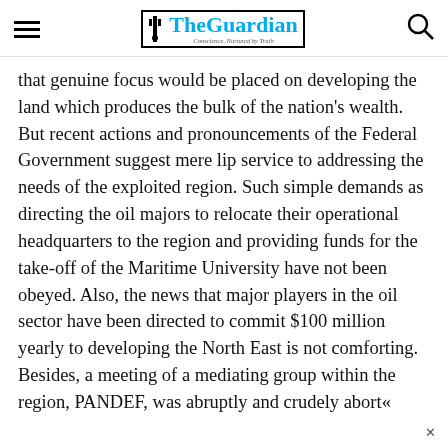The Guardian — Conscience, Nurtured by Truth
that genuine focus would be placed on developing the land which produces the bulk of the nation's wealth. But recent actions and pronouncements of the Federal Government suggest mere lip service to addressing the needs of the exploited region. Such simple demands as directing the oil majors to relocate their operational headquarters to the region and providing funds for the take-off of the Maritime University have not been obeyed. Also, the news that major players in the oil sector have been directed to commit $100 million yearly to developing the North East is not comforting. Besides, a meeting of a mediating group within the region, PANDEF, was abruptly and crudely abort«